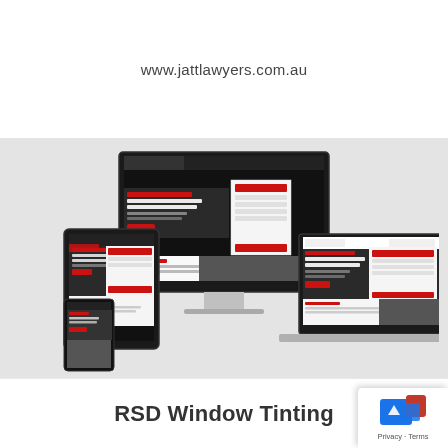www.jattlawyers.com.au
[Figure (screenshot): Multi-device mockup showing RSD Window Tinting website on desktop monitor, tablet, and laptop. The website features a dark theme with red accents, showing 'RSD WINDOW TINTING' headline text and 'ABOUT US' section.]
RSD Window Tinting